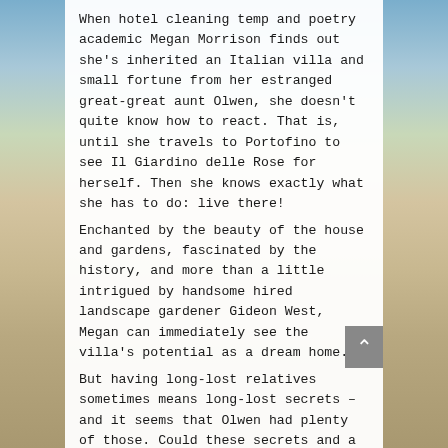When hotel cleaning temp and poetry academic Megan Morrison finds out she's inherited an Italian villa and small fortune from her estranged great-great aunt Olwen, she doesn't quite know how to react. That is, until she travels to Portofino to see Il Giardino delle Rose for herself. Then she knows exactly what she has to do: live there!
Enchanted by the beauty of the house and gardens, fascinated by the history, and more than a little intrigued by handsome hired landscape gardener Gideon West, Megan can immediately see the villa's potential as a dream home.
But having long-lost relatives sometimes means long-lost secrets – and it seems that Olwen had plenty of those. Could these secrets and a jealous
[Figure (illustration): Gray scroll-to-top button with upward-pointing caret/chevron arrow on the right side of the white panel]